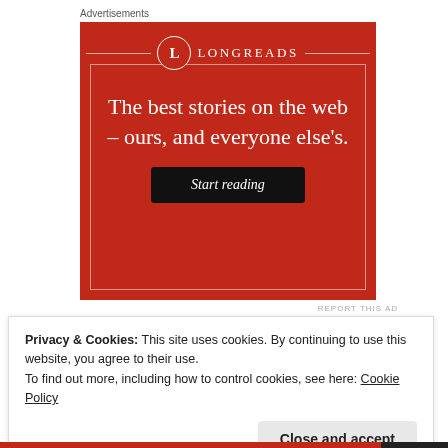Advertisements
[Figure (illustration): Longreads advertisement on red background. Shows the Longreads logo (circle with L), tagline 'The best stories on the web – ours, and everyone else's.' and a black 'Start reading' button.]
REPORT THIS AD
Privacy & Cookies: This site uses cookies. By continuing to use this website, you agree to their use.
To find out more, including how to control cookies, see here: Cookie Policy
Close and accept